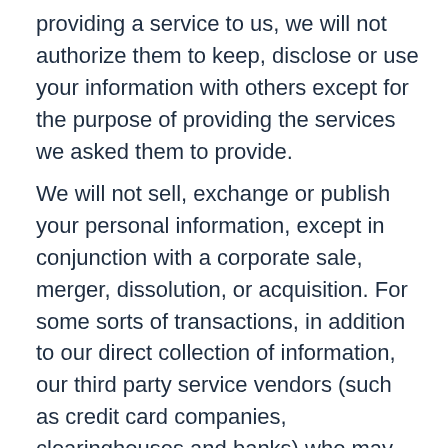providing a service to us, we will not authorize them to keep, disclose or use your information with others except for the purpose of providing the services we asked them to provide.
We will not sell, exchange or publish your personal information, except in conjunction with a corporate sale, merger, dissolution, or acquisition. For some sorts of transactions, in addition to our direct collection of information, our third party service vendors (such as credit card companies, clearinghouses and banks) who may provide such services as credit, insurance, and escrow services may collect personal information directly from you to assist you with your transaction. We do not control how these third parties use such